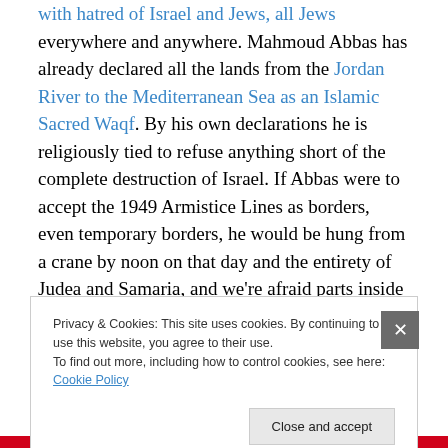with hatred of Israel and Jews, all Jews everywhere and anywhere. Mahmoud Abbas has already declared all the lands from the Jordan River to the Mediterranean Sea as an Islamic Sacred Waqf. By his own declarations he is religiously tied to refuse anything short of the complete destruction of Israel. If Abbas were to accept the 1949 Armistice Lines as borders, even temporary borders, he would be hung from a crane by noon on that day and the entirety of Judea and Samaria, and we're afraid parts inside Israel, would briefly turn into a redux of Syria with all the violence and a heated war waged between the PLO
Privacy & Cookies: This site uses cookies. By continuing to use this website, you agree to their use. To find out more, including how to control cookies, see here: Cookie Policy
Close and accept